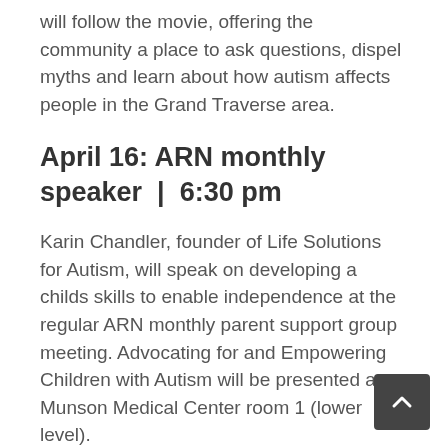will follow the movie, offering the community a place to ask questions, dispel myths and learn about how autism affects people in the Grand Traverse area.
April 16: ARN monthly speaker | 6:30 pm
Karin Chandler, founder of Life Solutions for Autism, will speak on developing a childs skills to enable independence at the regular ARN monthly parent support group meeting. Advocating for and Empowering Children with Autism will be presented at Munson Medical Center room 1 (lower level).